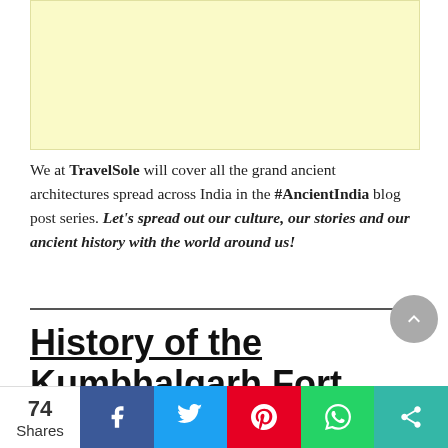[Figure (other): Advertisement banner with light yellow background]
We at TravelSole will cover all the grand ancient architectures spread across India in the #AncientIndia blog post series. Let's spread out our culture, our stories and our ancient history with the world around us!
History of the Kumbhalgarh Fort in
74 Shares | Facebook | Twitter | Pinterest | WhatsApp | Share